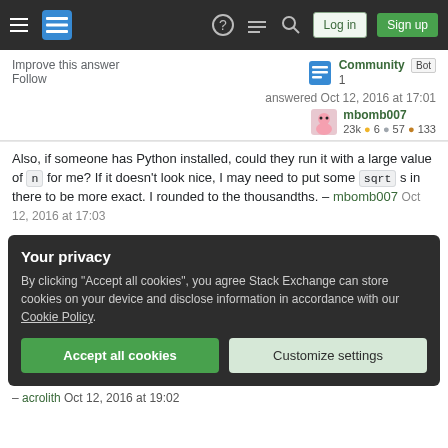Stack Exchange navigation bar with hamburger menu, logo, help, chat, search icons, Log in and Sign up buttons
Improve this answer
Follow
Community Bot 1
answered Oct 12, 2016 at 17:01
mbomb007 23k ● 6 ● 57 ● 133
Also, if someone has Python installed, could they run it with a large value of n for me? If it doesn't look nice, I may need to put some sqrt s in there to be more exact. I rounded to the thousandths. – mbomb007 Oct 12, 2016 at 17:03
Your privacy
By clicking "Accept all cookies", you agree Stack Exchange can store cookies on your device and disclose information in accordance with our Cookie Policy.
Accept all cookies
Customize settings
– acrolith Oct 12, 2016 at 19:02